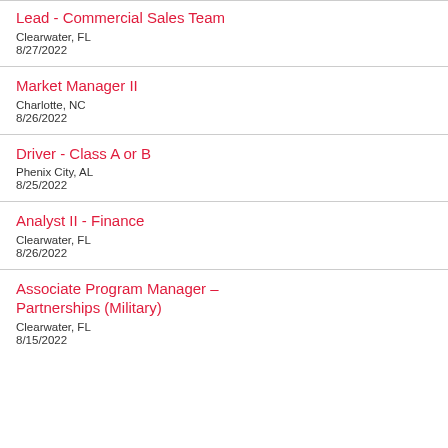Lead - Commercial Sales Team
Clearwater, FL
8/27/2022
Market Manager II
Charlotte, NC
8/26/2022
Driver - Class A or B
Phenix City, AL
8/25/2022
Analyst II - Finance
Clearwater, FL
8/26/2022
Associate Program Manager – Partnerships (Military)
Clearwater, FL
8/15/2022